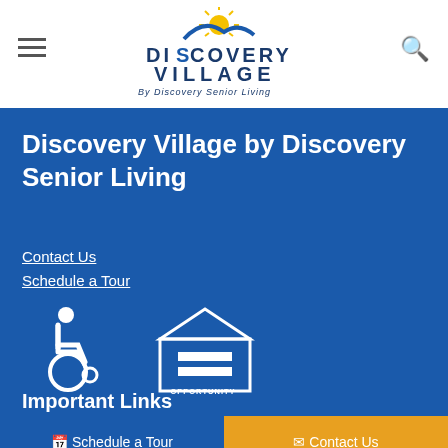[Figure (logo): Discovery Village by Discovery Senior Living logo with sun graphic and stylized text]
Discovery Village by Discovery Senior Living
Contact Us
Schedule a Tour
[Figure (illustration): Accessibility icon (wheelchair symbol) and Equal Housing Opportunity logo]
Important Links
Schedule a Tour
Contact Us